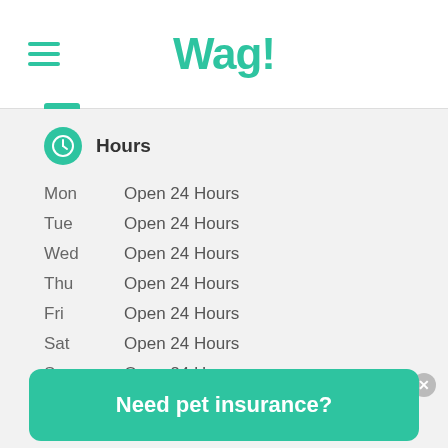Wag!
Hours
| Day | Hours |
| --- | --- |
| Mon | Open 24 Hours |
| Tue | Open 24 Hours |
| Wed | Open 24 Hours |
| Thu | Open 24 Hours |
| Fri | Open 24 Hours |
| Sat | Open 24 Hours |
| Sun | Open 24 Hours |
Special Hours
From May 15th until September 15th dogs are
Need pet insurance?